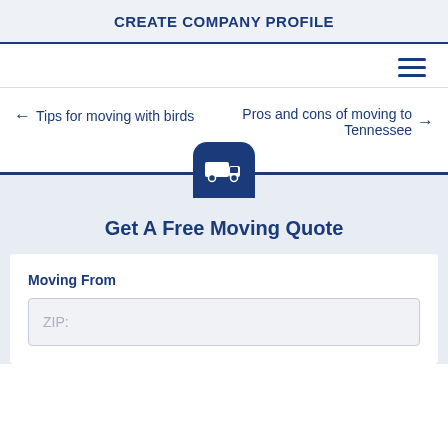CREATE COMPANY PROFILE
← Tips for moving with birds    Pros and cons of moving to Tennessee →
[Figure (illustration): Dark blue rounded square icon with a white delivery truck / moving truck silhouette]
Get A Free Moving Quote
Moving From
ZIP: